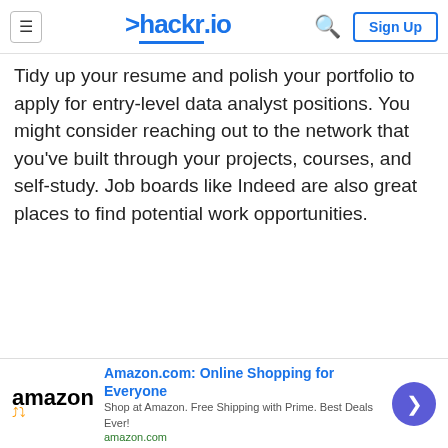hackr.io — Sign Up
Tidy up your resume and polish your portfolio to apply for entry-level data analyst positions. You might consider reaching out to the network that you've built through your projects, courses, and self-study. Job boards like Indeed are also great places to find potential work opportunities.
[Figure (infographic): Direct Relief advertisement banner: orange background with Direct Relief logo and text 'Help send medical aid to Ukraine >>']
[Figure (infographic): Amazon advertisement banner: Amazon logo with text 'Amazon.com: Online Shopping for Everyone', 'Shop at Amazon. Free Shipping with Prime. Best Deals Ever!', amazon.com, and a blue circular next button]